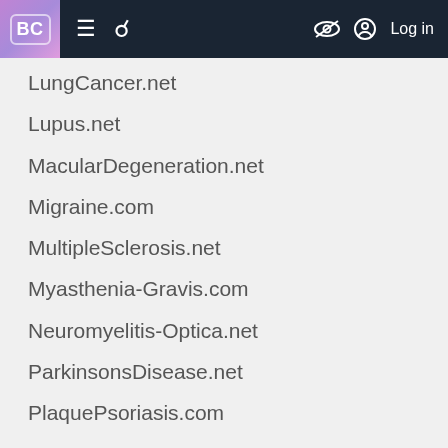BC | ≡ 🔍 [eye-slash] [person] Log in
LungCancer.net
Lupus.net
MacularDegeneration.net
Migraine.com
MultipleSclerosis.net
Myasthenia-Gravis.com
Neuromyelitis-Optica.net
ParkinsonsDisease.net
PlaquePsoriasis.com
ProstateCancer.net
Psoriatic-Arthritis.com
RheumatoidArthritis.net